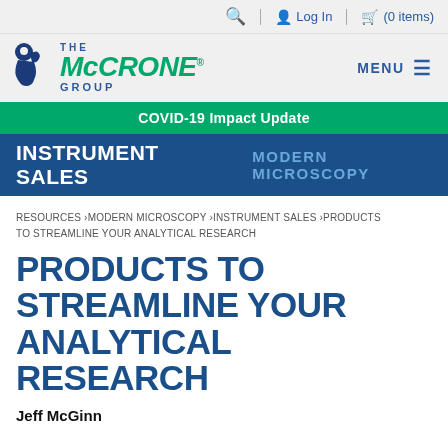🔍  Log In  (0 items)
[Figure (logo): The McCrone Group logo with stylized microscope icon, green italic McCRONE text, and blue THE and GROUP text]
MENU ≡
COVID-19 Impact Update
INSTRUMENT SALES    MODERN MICROSCOPY
RESOURCES › MODERN MICROSCOPY › INSTRUMENT SALES › PRODUCTS TO STREAMLINE YOUR ANALYTICAL RESEARCH
PRODUCTS TO STREAMLINE YOUR ANALYTICAL RESEARCH
Jeff McGinn